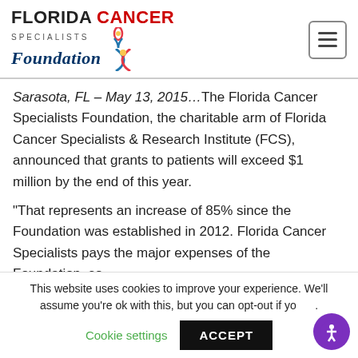[Figure (logo): Florida Cancer Specialists Foundation logo with ribbon icon]
Sarasota, FL – May 13, 2015…The Florida Cancer Specialists Foundation, the charitable arm of Florida Cancer Specialists & Research Institute (FCS), announced that grants to patients will exceed $1 million by the end of this year.
“That represents an increase of 85% since the Foundation was established in 2012. Florida Cancer Specialists pays the major expenses of the Foundation, so...
This website uses cookies to improve your experience. We’ll assume you’re ok with this, but you can opt-out if yo...
Cookie settings    ACCEPT